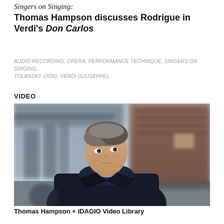Singers on Singing: Thomas Hampson discusses Rodrigue in Verdi's Don Carlos
AUDIO RECORDING, OPERA, PERFORMANCE TECHNIQUE, SINGERS ON SINGING, TOLANSKY (JON), VERDI (GIUSEPPE),
VIDEO
[Figure (photo): Portrait photograph of Thomas Hampson, a middle-aged man with grey-streaked hair wearing a dark navy sweater and jacket, looking upward to the right, photographed outdoors in an urban setting with blurred brick buildings and bridge structure in background.]
Thomas Hampson + IDAGIO Video Library